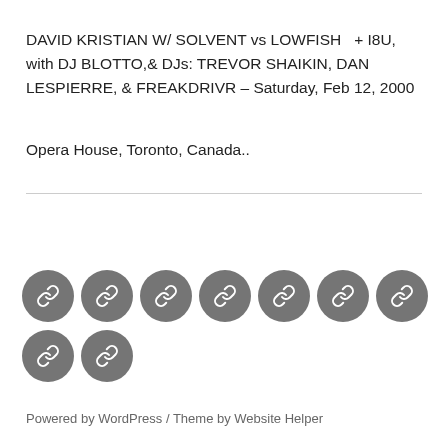DAVID KRISTIAN W/ SOLVENT vs LOWFISH  + I8U, with DJ BLOTTO,& DJs: TREVOR SHAIKIN, DAN LESPIERRE, & FREAKDRIVR – Saturday, Feb 12, 2000
Opera House, Toronto, Canada..
[Figure (other): Nine gray circular icon buttons arranged in two rows (7 in the first row, 2 in the second), each containing a chain/link icon in white.]
Powered by WordPress / Theme by Website Helper